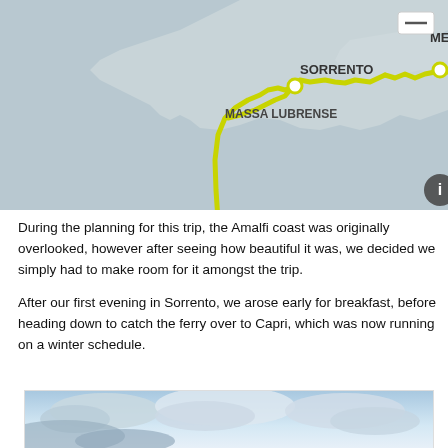[Figure (map): Interactive map showing a route (yellow/olive line) from Capri through Sorrento/Massa Lubrense to Meta along the Amalfi coast. Waypoints marked with yellow dots at Capri and along the eastern coastal road. Place labels: META, SORRENTO, MASSA LUBRENSE, CAPRI. Gray land masses on muted background. Info icon bottom-right.]
During the planning for this trip, the Amalfi coast was originally overlooked, however after seeing how beautiful it was, we decided we simply had to make room for it amongst the trip.
After our first evening in Sorrento, we arose early for breakfast, before heading down to catch the ferry over to Capri, which was now running on a winter schedule.
[Figure (photo): Partial photo showing a sky with clouds (blue and white tones), cropped at bottom of page.]